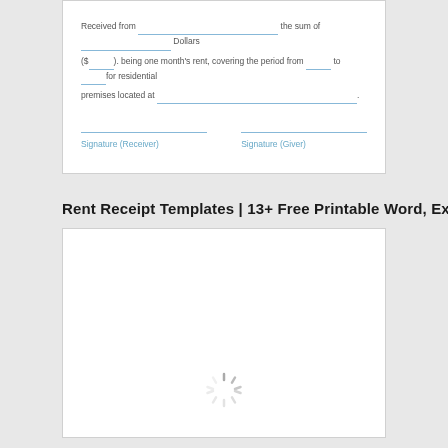Received from ___________________ the sum of _______________ Dollars ($ ______). being one month's rent, covering the period from _______ to _______for residential premises located at _____________________________.
Signature (Receiver)   Signature (Giver)
Rent Receipt Templates | 13+ Free Printable Word, Excel
[Figure (other): Loading spinner graphic — animated radial lines in a circular pattern indicating content loading]